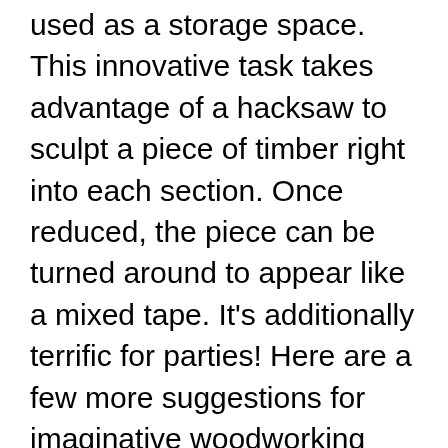used as a storage space. This innovative task takes advantage of a hacksaw to sculpt a piece of timber right into each section. Once reduced, the piece can be turned around to appear like a mixed tape. It's additionally terrific for parties! Here are a few more suggestions for imaginative woodworking tasks. The possibilities are unlimited.
Craft beer is prominent now more than ever, so you can easily target this expanding demographic. Beer container pet crates are ideal since they attract the vintage-chic crowd. They are also easy and also quick to make, with a high return on investment. To make the job even more appealing, you can paint it with chalk paint, distress it, or leave it as is. This DIY task is also a fantastic